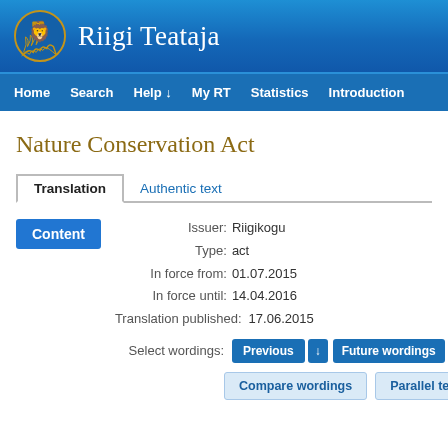Riigi Teataja
Home  Search  Help ↓  My RT  Statistics  Introduction
Nature Conservation Act
Translation | Authentic text
Content
Issuer: Riigikogu
Type: act
In force from: 01.07.2015
In force until: 14.04.2016
Translation published: 17.06.2015
Select wordings: Previous ↓  Future wordings ↓  In force
Compare wordings  Parallel texts